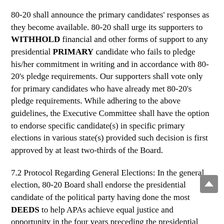80-20 shall announce the primary candidates' responses as they become available. 80-20 shall urge its supporters to WITHHOLD financial and other forms of support to any presidential PRIMARY candidate who fails to pledge his/her commitment in writing and in accordance with 80-20's pledge requirements. Our supporters shall vote only for primary candidates who have already met 80-20's pledge requirements. While adhering to the above guidelines, the Executive Committee shall have the option to endorse specific candidate(s) in specific primary elections in various state(s) provided such decision is first approved by at least two-thirds of the Board.
7.2 Protocol Regarding General Elections: In the general election, 80-20 Board shall endorse the presidential candidate of the political party having done the most DEEDS to help APAs achieve equal justice and opportunity in the four years preceding the presidential election. The strength of a candidate's letter to 80-20 may also be taken into account. A simple majority of the board shall decide the